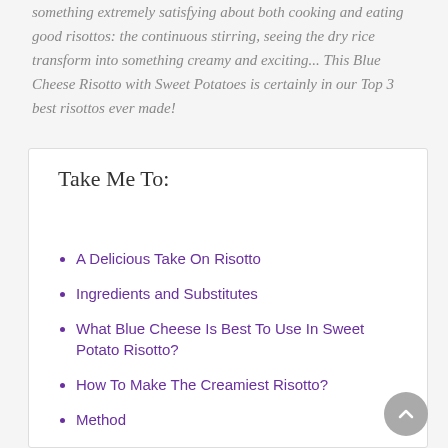something extremely satisfying about both cooking and eating good risottos: the continuous stirring, seeing the dry rice transform into something creamy and exciting... This Blue Cheese Risotto with Sweet Potatoes is certainly in our Top 3 best risottos ever made!
Take Me To:
A Delicious Take On Risotto
Ingredients and Substitutes
What Blue Cheese Is Best To Use In Sweet Potato Risotto?
How To Make The Creamiest Risotto?
Method
Recipe FAQs
Other Sweet Potato Recipes